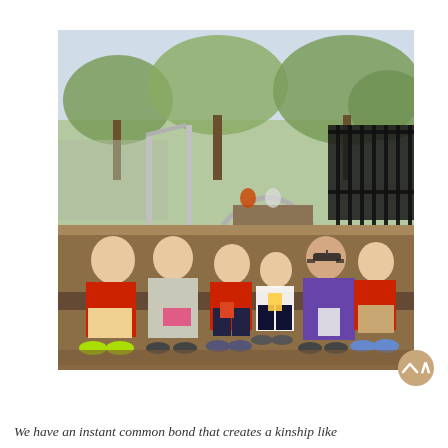[Figure (photo): Group of adults and young children sitting on a low retaining wall in a playground area with trees and play equipment in the background. Two adults on the left wear red, a woman in a gray cardigan sits next to them, three young boys in red shirts sit in the middle, and a woman in a purple top sits on the right.]
We have an instant common bond that creates a kinship like